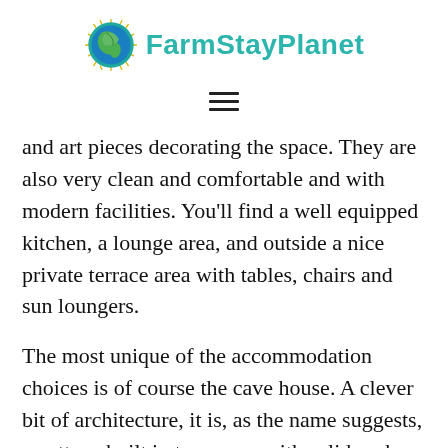FarmStayPlanet
and art pieces decorating the space. They are also very clean and comfortable and with modern facilities. You'll find a well equipped kitchen, a lounge area, and outside a nice private terrace area with tables, chairs and sun loungers.
The most unique of the accommodation choices is of course the cave house. A clever bit of architecture, it is, as the name suggests, a cottage built in to a cave, with solid rock for (most of) the walls and ceilings. The design is